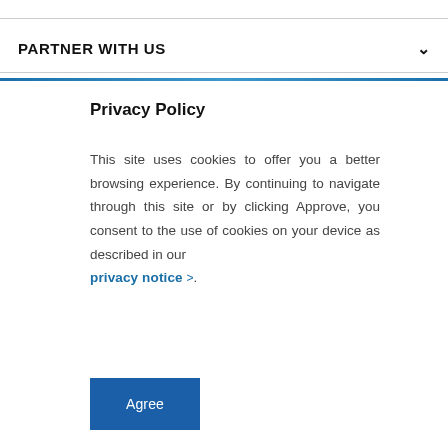PARTNER WITH US
Privacy Policy
This site uses cookies to offer you a better browsing experience. By continuing to navigate through this site or by clicking Approve, you consent to the use of cookies on your device as described in our privacy notice >.
Agree